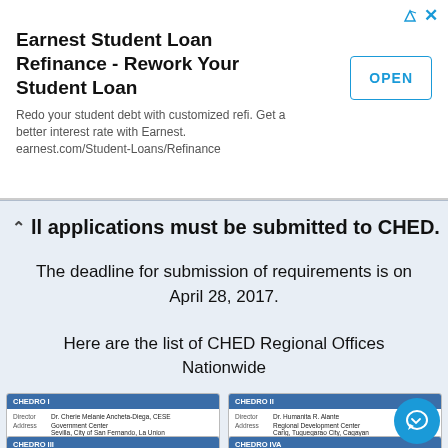[Figure (screenshot): Advertisement banner for Earnest Student Loan Refinance with OPEN button]
ll applications must be submitted to CHED.
The deadline for submission of requirements is on April 28, 2017.
Here are the list of CHED Regional Offices Nationwide
[Figure (screenshot): CHEDRO I card: Director Dr. Cherie Melanie Ancheta-Diega, CESE; Address Government Center Sevilla, City of San Fernando, La Union; Tel (072) 242-0253 / 242-502.7; Email chedro1@ched.gov.ph; Website http://www.ched.gov.ph/chedro1]
[Figure (screenshot): CHEDRO II card: Director Dr. Humanita R. Alante; Address Regional Development Center Carig, Tuguegarao City, Cagayan; Tel (078) 396-0651 / 304-4050; Email chedrona2@gmail.com; Website http://www.ched.gov.ph/chedro2]
[Figure (screenshot): CHEDRO III partial card visible at bottom]
[Figure (screenshot): CHEDRO IVA partial card visible at bottom]